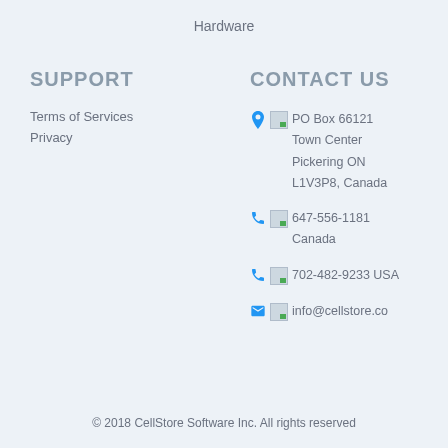Hardware
SUPPORT
CONTACT US
Terms of Services
Privacy
PO Box 66121 Town Center Pickering ON L1V3P8, Canada
647-556-1181 Canada
702-482-9233 USA
info@cellstore.co
© 2018 CellStore Software Inc. All rights reserved